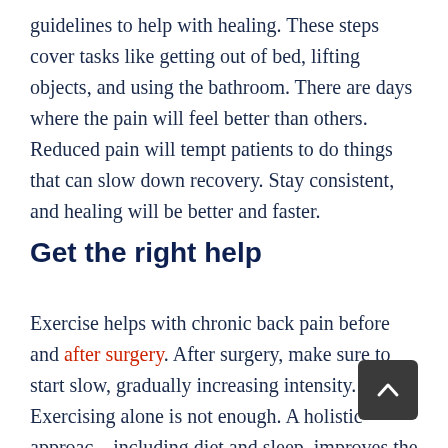guidelines to help with healing. These steps cover tasks like getting out of bed, lifting objects, and using the bathroom. There are days where the pain will feel better than others. Reduced pain will tempt patients to do things that can slow down recovery. Stay consistent, and healing will be better and faster.
Get the right help
Exercise helps with chronic back pain before and after surgery. After surgery, make sure to start slow, gradually increasing intensity. Exercising alone is not enough. A holistic approach, including diet and sleep, improves the quality of recovery. Talk to a doctor for any recovery...